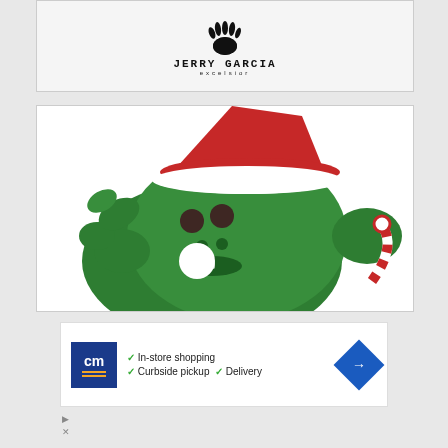[Figure (logo): Jerry Garcia Excelsior logo with handprint at top]
[Figure (photo): Green monster/creature figurine wearing a red and white Santa hat, with candy cane, Christmas themed collectible toy]
[Figure (other): Advertisement banner: CM logo with blue background, checkmarks listing In-store shopping, Curbside pickup, Delivery; blue diamond navigation arrow logo]